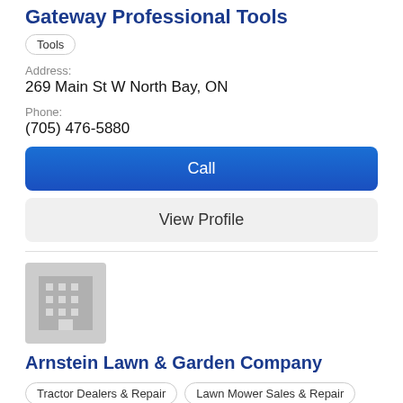Gateway Professional Tools
Tools
Address: 269 Main St W North Bay, ON
Phone: (705) 476-5880
Call
View Profile
[Figure (illustration): Grey building placeholder icon]
Arnstein Lawn & Garden Company
Tractor Dealers & Repair
Lawn Mower Sales & Repair
Electric & Gas Generators
Garden Equipment Repair